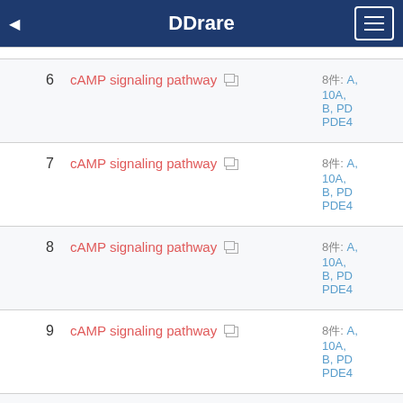DDrare
| # | Name | Details |
| --- | --- | --- |
| 6 | cAMP signaling pathway | 8件: A, 10A, B, PD, PDE4 |
| 7 | cAMP signaling pathway | 8件: A, 10A, B, PD, PDE4 |
| 8 | cAMP signaling pathway | 8件: A, 10A, B, PD, PDE4 |
| 9 | cAMP signaling pathway | 8件: A, 10A, B, PD, PDE4 |
| 10 | cAMP signaling pathway | 8件: A, 10A, B, PD, PDE4 |